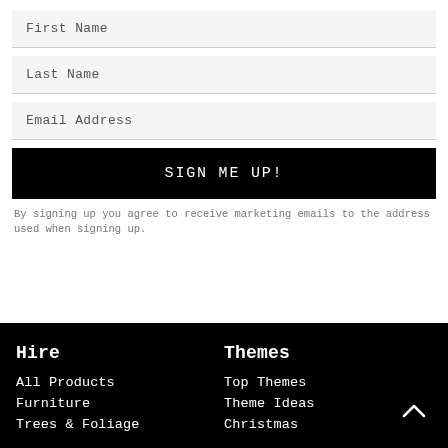First Name
Last Name
Email Address
SIGN ME UP!
By signing up you agree to receive marketing emails to the address used when signing up.
Hire
Themes
All Products
Furniture
Trees & Foliage
Top Themes
Theme Ideas
Christmas